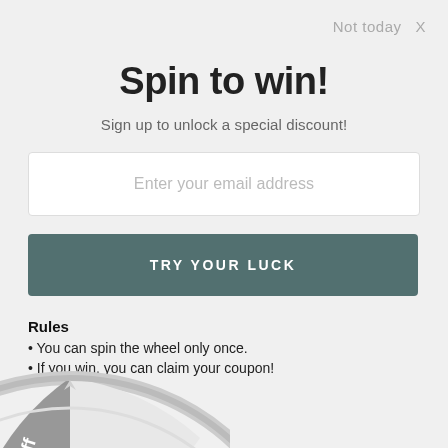Not today  X
Spin to win!
Sign up to unlock a special discount!
Enter your email address
TRY YOUR LUCK
Rules
You can spin the wheel only once.
If you win, you can claim your coupon!
[Figure (other): Partial view of a spin-to-win wheel at the bottom of the page, showing a grey and light-colored wheel segment with the text 'off' partially visible.]